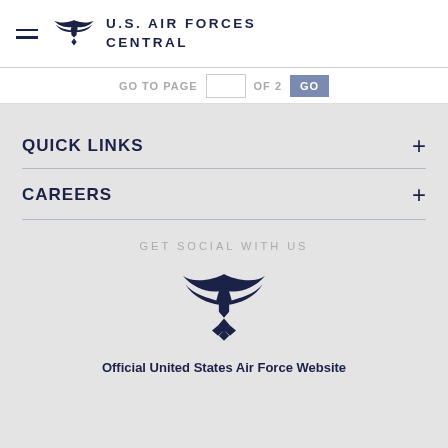U.S. AIR FORCES CENTRAL
GO TO PAGE [  ] OF 2  GO
QUICK LINKS
CAREERS
GET SOCIAL WITH US
[Figure (logo): U.S. Air Forces Central eagle/wings logo in dark navy blue]
Official United States Air Force Website